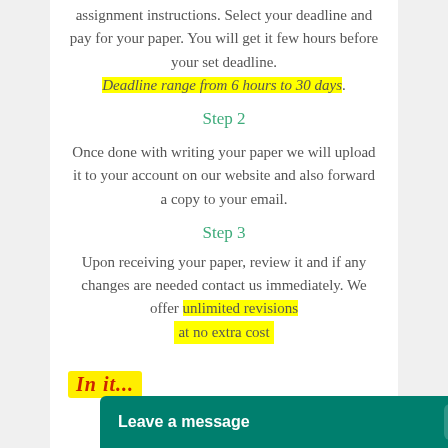assignment instructions. Select your deadline and pay for your paper. You will get it few hours before your set deadline. Deadline range from 6 hours to 30 days.
Step 2
Once done with writing your paper we will upload it to your account on our website and also forward a copy to your email.
Step 3
Upon receiving your paper, review it and if any changes are needed contact us immediately. We offer unlimited revisions at no extra cost.